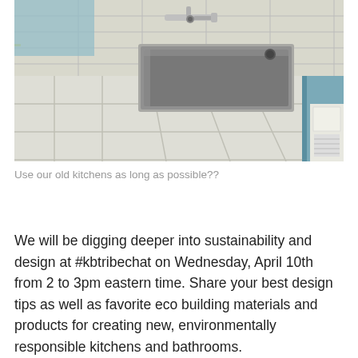[Figure (photo): Photograph of an old kitchen with white tile countertop and backsplash, a stainless steel single-basin sink, chrome wall-mounted faucet, and white cabinet below with a vent]
Use our old kitchens as long as possible??
We will be digging deeper into sustainability and design at #kbtribechat on Wednesday, April 10th from 2 to 3pm eastern time.  Share your best design tips as well as favorite eco building materials and products for creating new, environmentally responsible kitchens and bathrooms.